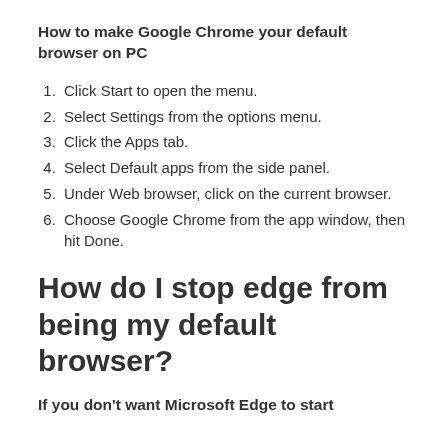How to make Google Chrome your default browser on PC
Click Start to open the menu.
Select Settings from the options menu.
Click the Apps tab.
Select Default apps from the side panel.
Under Web browser, click on the current browser.
Choose Google Chrome from the app window, then hit Done.
How do I stop edge from being my default browser?
If you don't want Microsoft Edge to start